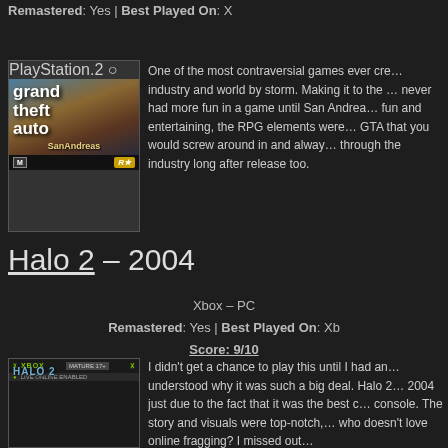Remastered: Yes | Best Played On: X
[Figure (photo): Grand Theft Auto San Andreas PlayStation 2 game cover]
One of the most contraversial games ever cre... industry and world by storm. Making it to the ... never had more fun in a game until San Andrea... fun and entertaining, the RPG elements were... GTA that you would screw around in and alway... through the industry long after release too.
Halo 2 – 2004
Xbox – PC
Remastered: Yes | Best Played On: Xb
Score: 9/10
[Figure (photo): Halo 2 Xbox game cover]
I didn't get a chance to play this until I had an... understood why it was such a big deal. Halo 2 ... 2004 just due to the fact that it was the best c... console. The story and visuals were top-notch,... who doesn't love online fragging? I missed out...